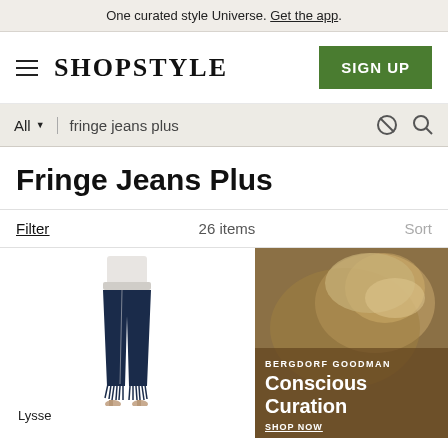One curated style Universe. Get the app.
[Figure (logo): ShopStyle logo with hamburger menu and SIGN UP button]
All  fringe jeans plus
Fringe Jeans Plus
Filter   26 items   Sort
[Figure (photo): Navy fringe jeans product photo, brand Lysse]
[Figure (photo): Bergdorf Goodman advertisement: Conscious Curation, SHOP NOW]